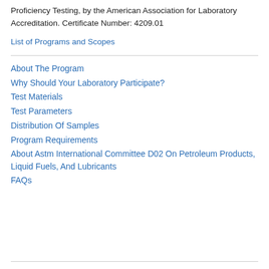Proficiency Testing, by the American Association for Laboratory Accreditation. Certificate Number: 4209.01
List of Programs and Scopes
About The Program
Why Should Your Laboratory Participate?
Test Materials
Test Parameters
Distribution Of Samples
Program Requirements
About Astm International Committee D02 On Petroleum Products, Liquid Fuels, And Lubricants
FAQs